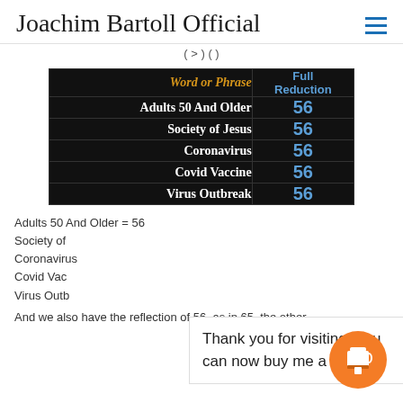Joachim Bartoll Official
| Word or Phrase | Full Reduction |
| --- | --- |
| Adults 50 And Older | 56 |
| Society of Jesus | 56 |
| Coronavirus | 56 |
| Covid Vaccine | 56 |
| Virus Outbreak | 56 |
Adults 50 And Older = 56
Society of
Coronavirus
Covid Vac
Virus Outb
Thank you for visiting. You can now buy me a coffee!
And we also have the reflection of 56, as in 65, the other